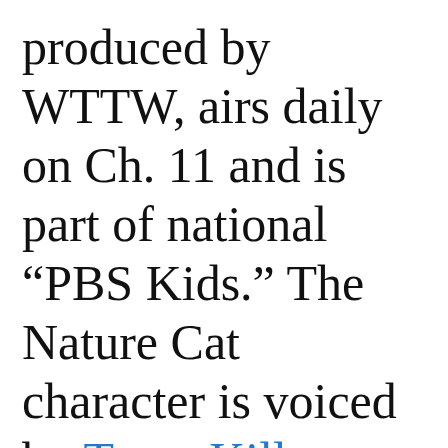produced by WTTW, airs daily on Ch. 11 and is part of national “PBS Kids.” The Nature Cat character is voiced by Taran Killam. Nature Cat’s buddies and fellow adventures are